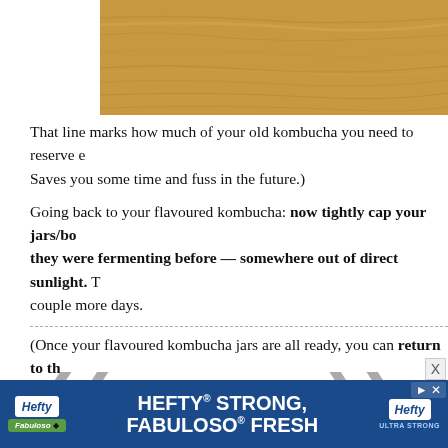[Figure (photo): Wooden surface/cutting board photo, partially visible at top right of page]
That line marks how much of your old kombucha you need to reserve each time. Saves you some time and fuss in the future.)
Going back to your flavoured kombucha: now tightly cap your jars/bottles and put them back where they were fermenting before — somewhere out of direct sunlight. The flavours will develop over a couple more days.
(Once your flavoured kombucha jars are all ready, you can return to the same process as when you were brewing when you started out. Make a new batch of kombucha using the instructions in my last post, using your new kombucha starter. All you're doing is adding your new kombucha starter in your big vessel, and returning your SCOBY to float on top. In time — if you're lucky to have it — hopefully it will grow thicker, so you have a second SCOBY to give to a friend!)
Like I said, you want to let your flavoured kombucha jars sit f
[Figure (infographic): Advertisement banner: Hefty STRONG, FABULOSO FRESH ad in blue background with Hefty and Fabuloso logos]